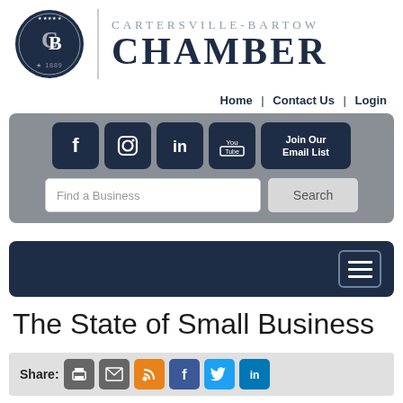[Figure (logo): Cartersville-Bartow Chamber of Commerce circular logo with monogram CB and year 1889, navy blue]
Cartersville-Bartow Chamber
Home | Contact Us | Login
[Figure (screenshot): Gray toolbar with social media buttons (Facebook, Instagram, LinkedIn, YouTube, Join Our Email List) and a business search field with Search button]
[Figure (screenshot): Dark navy navigation bar with hamburger menu button on the right]
The State of Small Business
Share: [print] [email] [RSS] [Facebook] [Twitter] [LinkedIn]